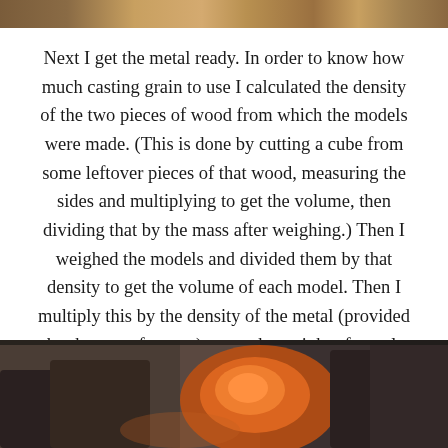[Figure (photo): Top portion of a photo showing what appears to be a metal casting setup with golden/brass colored elements on a wooden surface]
Next I get the metal ready. In order to know how much casting grain to use I calculated the density of the two pieces of wood from which the models were made. (This is done by cutting a cube from some leftover pieces of that wood, measuring the sides and multiplying to get the volume, then dividing that by the mass after weighing.) Then I weighed the models and divided them by that density to get the volume of each model. Then I multiply this by the density of the metal (provided by the manufacturer) to get the weight of metal. Naturally, I added about 40% extra to account for the sprue and vents and had quite a bit left over after the pour.
[Figure (photo): Bottom portion photo showing metal casting process with orange glowing molten metal and dark mold forms]